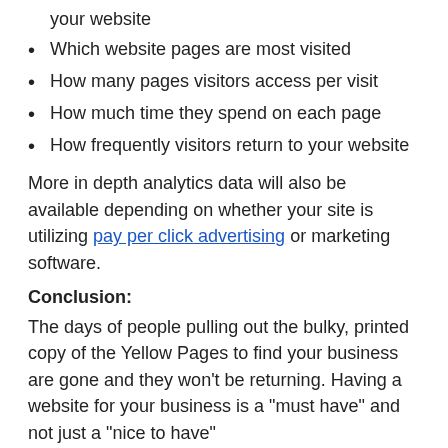your website
Which website pages are most visited
How many pages visitors access per visit
How much time they spend on each page
How frequently visitors return to your website
More in depth analytics data will also be available depending on whether your site is utilizing pay per click advertising or marketing software.
Conclusion:
The days of people pulling out the bulky, printed copy of the Yellow Pages to find your business are gone and they won’t be returning. Having a website for your business is a “must have” and not just a “nice to have”